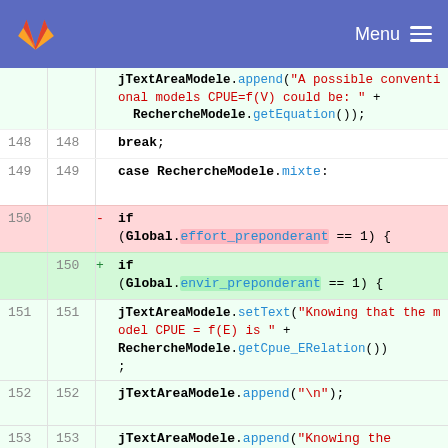GitLab header with logo and Menu button
[Figure (screenshot): Code diff view showing Java source code with line numbers, deleted and added lines, syntax highlighting in a GitLab-style interface]
jTextAreaModele.append("A possible conventional models CPUE=f(V) could be: " + RechercheModele.getEquation());
148  148  break;
149  149  case RechercheModele.mixte:
150  -  if (Global.effort_preponderant == 1) {
150  +  if (Global.envir_preponderant == 1) {
151  151  jTextAreaModele.setText("Knowing that the model CPUE = f(E) is " + RechercheModele.getCpue_ERelation());
152  152  jTextAreaModele.append("\n");
153  153  jTextAreaModele.append("Knowing the